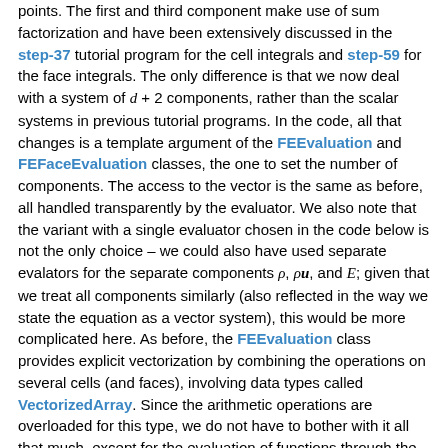points. The first and third component make use of sum factorization and have been extensively discussed in the step-37 tutorial program for the cell integrals and step-59 for the face integrals. The only difference is that we now deal with a system of d + 2 components, rather than the scalar systems in previous tutorial programs. In the code, all that changes is a template argument of the FEEvaluation and FEFaceEvaluation classes, the one to set the number of components. The access to the vector is the same as before, all handled transparently by the evaluator. We also note that the variant with a single evaluator chosen in the code below is not the only choice – we could also have used separate evalators for the separate components ρ, ρu, and E; given that we treat all components similarly (also reflected in the way we state the equation as a vector system), this would be more complicated here. As before, the FEEvaluation class provides explicit vectorization by combining the operations on several cells (and faces), involving data types called VectorizedArray. Since the arithmetic operations are overloaded for this type, we do not have to bother with it all that much, except for the evaluation of functions through the Function interface, where we need to provide particular vectorized evaluations for several quadrature point locations at once.